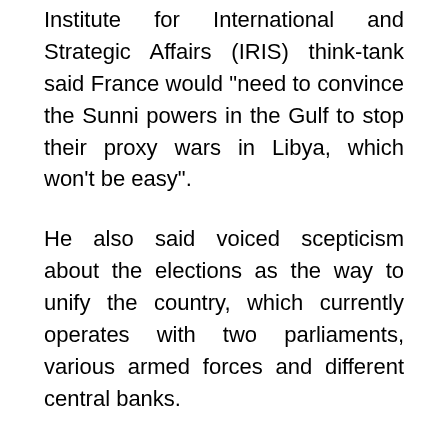Institute for International and Strategic Affairs (IRIS) think-tank said France would "need to convince the Sunni powers in the Gulf to stop their proxy wars in Libya, which won't be easy".
He also said voiced scepticism about the elections as the way to unify the country, which currently operates with two parliaments, various armed forces and different central banks.
"Generally speaking the West sometimes tends to place too much emphasis on the ballot box and the voting slip," he said, explaining that polls could sometimes be counter-productive.
Macron threw himself into finding a solution in Libya